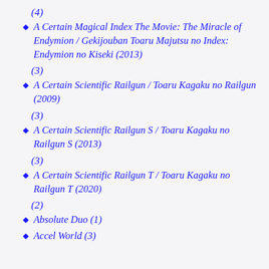(4)
A Certain Magical Index The Movie: The Miracle of Endymion / Gekijouban Toaru Majutsu no Index: Endymion no Kiseki (2013)
(3)
A Certain Scientific Railgun / Toaru Kagaku no Railgun (2009)
(3)
A Certain Scientific Railgun S / Toaru Kagaku no Railgun S (2013)
(3)
A Certain Scientific Railgun T / Toaru Kagaku no Railgun T (2020)
(2)
Absolute Duo (1)
Accel World (3)